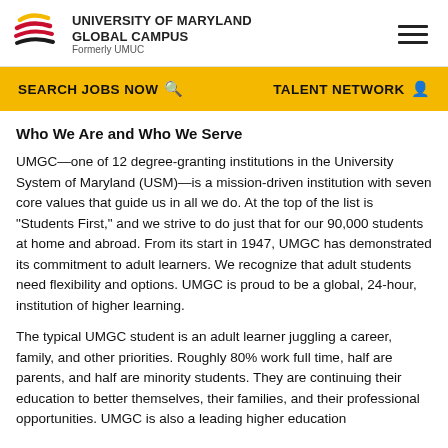UNIVERSITY OF MARYLAND GLOBAL CAMPUS
Formerly UMUC
Who We Are and Who We Serve
UMGC—one of 12 degree-granting institutions in the University System of Maryland (USM)—is a mission-driven institution with seven core values that guide us in all we do. At the top of the list is "Students First," and we strive to do just that for our 90,000 students at home and abroad. From its start in 1947, UMGC has demonstrated its commitment to adult learners. We recognize that adult students need flexibility and options. UMGC is proud to be a global, 24-hour, institution of higher learning.
The typical UMGC student is an adult learner juggling a career, family, and other priorities. Roughly 80% work full time, half are parents, and half are minority students. They are continuing their education to better themselves, their families, and their professional opportunities. UMGC is also a leading higher education...